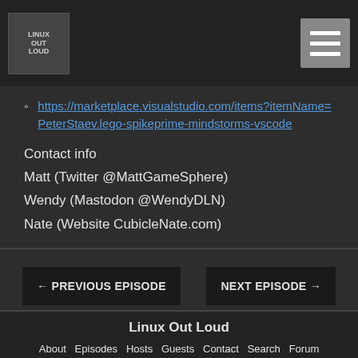Linux Out Loud [logo] [hamburger menu]
https://marketplace.visualstudio.com/items?itemName=PeterStaev.lego-spikeprime-mindstorms-vscode
Contact info
Matt (Twitter @MattGameSphere)
Wendy (Mastodon @WendyDLN)
Nate (Website CubicleNate.com)
← PREVIOUS EPISODE    NEXT EPISODE →
Linux Out Loud
About  Episodes  Hosts  Guests  Contact  Search  Forum
DLN Store  YouTube  Destination Linux Network  Subscribe